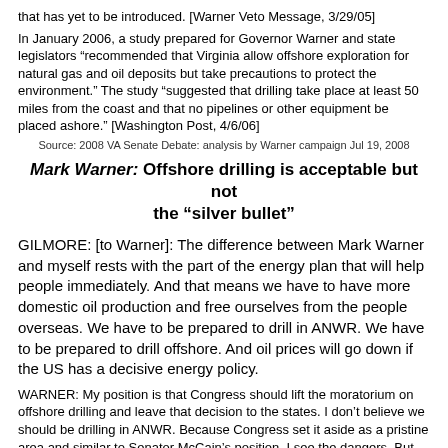that has yet to be introduced. [Warner Veto Message, 3/29/05]
In January 2006, a study prepared for Governor Warner and state legislators “recommended that Virginia allow offshore exploration for natural gas and oil deposits but take precautions to protect the environment.” The study “suggested that drilling take place at least 50 miles from the coast and that no pipelines or other equipment be placed ashore.” [Washington Post, 4/6/06]
Source: 2008 VA Senate Debate: analysis by Warner campaign Jul 19, 2008
Mark Warner: Offshore drilling is acceptable but not the “silver bullet”
GILMORE: [to Warner]: The difference between Mark Warner and myself rests with the part of the energy plan that will help people immediately. And that means we have to have more domestic oil production and free ourselves from the people overseas. We have to be prepared to drill in ANWR. We have to be prepared to drill offshore. And oil prices will go down if the US has a decisive energy policy.
WARNER: My position is that Congress should lift the moratorium on offshore drilling and leave that decision to the states. I don’t believe we should be drilling in ANWR. Because Congress set it aside as a pristine area and similar to Senator McCain’s position, I see the dangers. But where I disagree with Jim is that this is somehow the silver bullet. America has 3% of the world’s oil and we use 25% of the world’s oil. Drilling alone isn’t going to solve the whole problem. Investing in alternative energy is going to provide more immediate relief.
Source: 2008 VA Senate Debate between Jim Gilmore and Mark Warner Jul 19, 2008